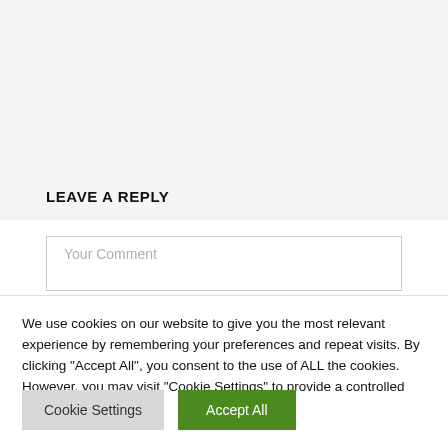LEAVE A REPLY
Your Comment
We use cookies on our website to give you the most relevant experience by remembering your preferences and repeat visits. By clicking “Accept All”, you consent to the use of ALL the cookies. However, you may visit "Cookie Settings" to provide a controlled consent.
Cookie Settings
Accept All